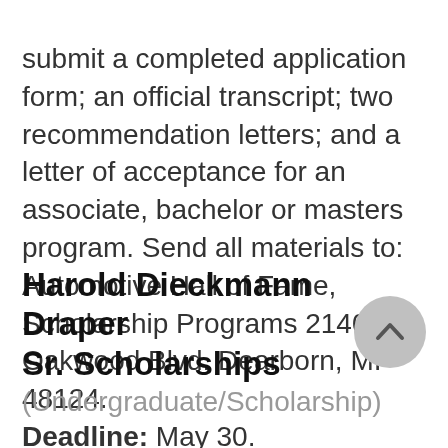submit a completed application form; an official transcript; two recommendation letters; and a letter of acceptance for an associate, bachelor or masters program. Send all materials to: Automotive Hall of Fame, Scholarship Programs 21400 Oakwood Blvd. Dearborn, MI 48124. Deadline: May 30.
Harold Dieckmann Draper Sr. Scholarships
(Undergraduate/Scholarship)